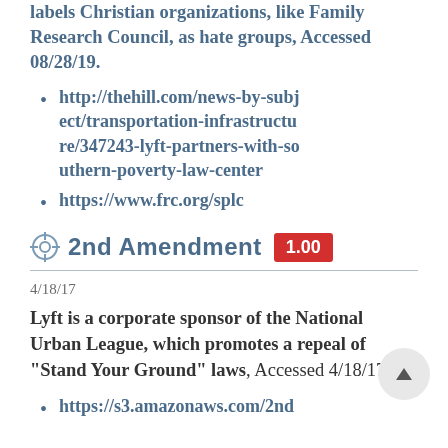labels Christian organizations, like Family Research Council, as hate groups, Accessed 08/28/19.
http://thehill.com/news-by-subject/transportation-infrastructure/347243-lyft-partners-with-southern-poverty-law-center
https://www.frc.org/splc
2nd Amendment 1.00
4/18/17
Lyft is a corporate sponsor of the National Urban League, which promotes a repeal of "Stand Your Ground" laws, Accessed 4/18/17.
https://s3.amazonaws.com/2nd